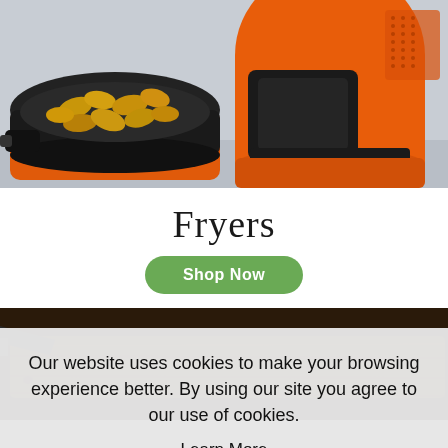[Figure (photo): Orange air fryer with the basket pulled out, containing golden nuggets/potato pieces, on a light gray background. The orange cylindrical body of the air fryer is visible on the right.]
Fryers
Shop Now
[Figure (photo): Close-up of a dark wooden cutting board with a knife on the left side, viewed from above on a dark background.]
Our website uses cookies to make your browsing experience better. By using our site you agree to our use of cookies.
Learn More
I Agree